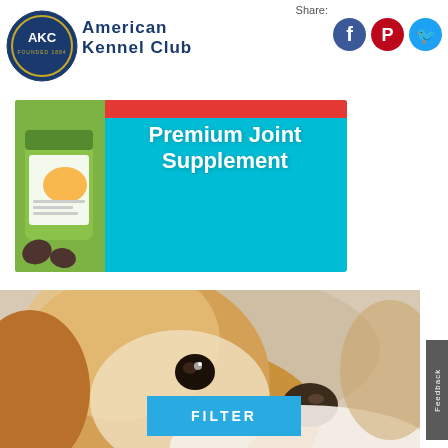[Figure (logo): American Kennel Club circular blue/white logo with AKC emblem]
American Kennel Club
Share:
[Figure (infographic): Social media sharing icons: Facebook (blue circle with f), Pinterest (red circle with P), Twitter (light blue circle with bird)]
[Figure (photo): Advertisement banner for Premium Joint Supplement showing a green supplement container with a golden retriever dog image, heart-shaped dog treats, on a cyan/blue background with red accent bar. Text reads: Premium Joint Supplement]
[Figure (photo): Close-up photo of a small fluffy brown and white dog (Pekingese or similar breed) looking up with large dark eyes, on a light background]
FILTER
Feedback